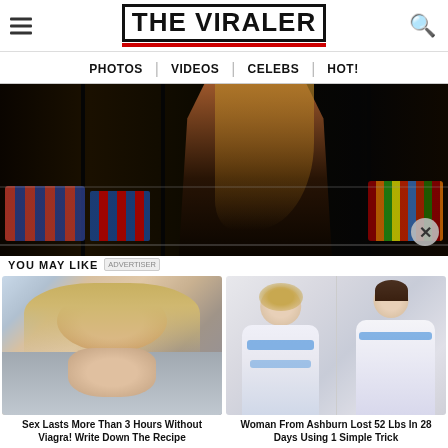THE VIRALER
PHOTOS | VIDEOS | CELEBS | HOT!
[Figure (photo): Woman in a dark sleeveless top posing in front of a beverage cooler with energy drink cans (Red Bull, etc.)]
YOU MAY LIKE [ADVERTISER]
[Figure (photo): Woman with blonde hair smiling, used as clickbait ad thumbnail]
Sex Lasts More Than 3 Hours Without Viagra! Write Down The Recipe
[Figure (photo): Two women side by side in white dresses with blue details, before and after weight loss ad]
Woman From Ashburn Lost 52 Lbs In 28 Days Using 1 Simple Trick